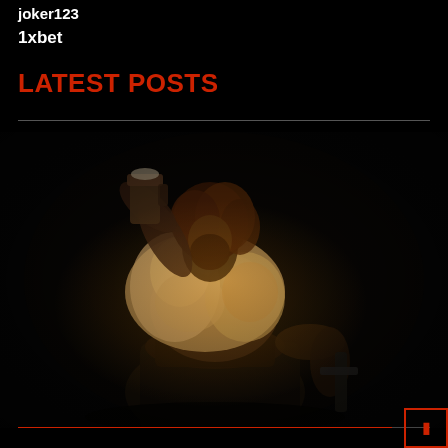joker123
1xbet
LATEST POSTS
[Figure (photo): A muscular man dressed as a medieval warrior or barbarian, wearing a fur-trimmed vest and leather belt corset, drinking from a large mug/tankard while seated, holding a sword at his side. Dark dramatic lighting against a black background.]